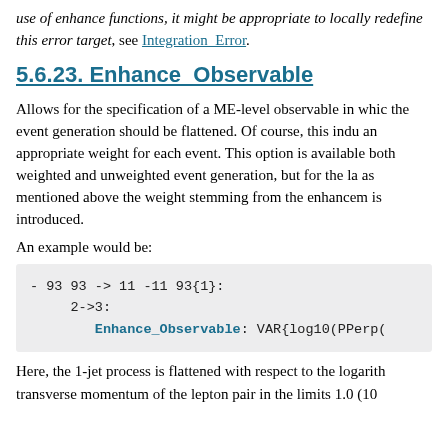use of enhance functions, it might be appropriate to locally redefine this error target, see Integration_Error.
5.6.23. Enhance_Observable
Allows for the specification of a ME-level observable in which the event generation should be flattened. Of course, this induces an appropriate weight for each event. This option is available for both weighted and unweighted event generation, but for the latter as mentioned above the weight stemming from the enhancement is introduced.
An example would be:
[Figure (other): Code block showing: - 93 93 -> 11 -11 93{1}:
    2->3:
       Enhance_Observable: VAR{log10(PPerp(]
Here, the 1-jet process is flattened with respect to the logarithm transverse momentum of the lepton pair in the limits 1.0 (10